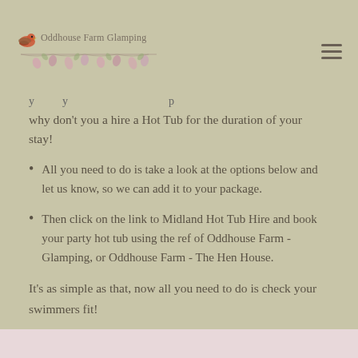Oddhouse Farm Glamping
why don't you a hire a Hot Tub for the duration of your stay!
All you need to do is take a look at the options below and let us know, so we can add it to your package.
Then click on the link to Midland Hot Tub Hire and book your party hot tub using the ref of Oddhouse Farm - Glamping, or Oddhouse Farm - The Hen House.
It's as simple as that, now all you need to do is check your swimmers fit!